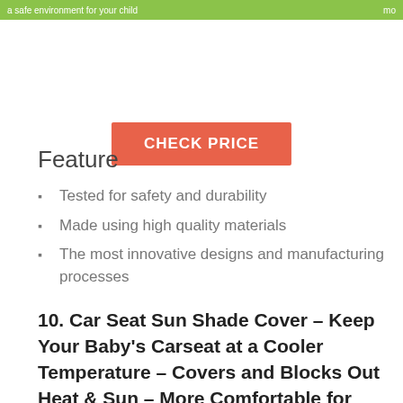a safe environment for your child
CHECK PRICE
Feature
Tested for safety and durability
Made using high quality materials
The most innovative designs and manufacturing processes
10. Car Seat Sun Shade Cover – Keep Your Baby's Carseat at a Cooler Temperature – Covers and Blocks Out Heat & Sun – More Comfortable for Baby or Child – Protection from UV Sunlight – Mommy's Helper